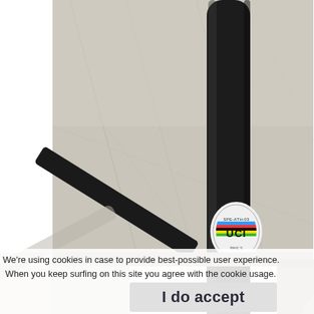[Figure (photo): Close-up photo of a black bicycle frame tube with a UCI sticker (SPE-ATH-03 label) on it. The background shows a marble or stone floor. A diagonal black tube (chainstay or fork) is visible in the lower left. A small bolt or port is visible on the tube below the sticker.]
We're using cookies in case to provide best-possible user experience. When you keep surfing on this site you agree with the cookie usage.
I do accept